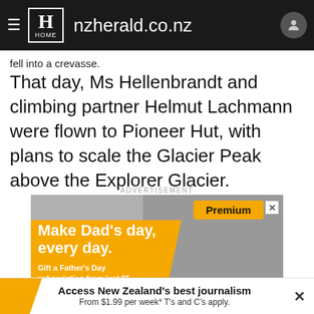nzherald.co.nz
fell into a crevasse.
That day, Ms Hellenbrandt and climbing partner Helmut Lachmann were flown to Pioneer Hut, with plans to scale the Glacier Peak above the Explorer Glacier.
ADVERTISEMENT
[Figure (other): NZ Herald Premium advertisement: Make Dad's day, every day. Gift a Father's Day subscription from just $5.]
Access New Zealand's best journalism
From $1.99 per week* T's and C's apply.